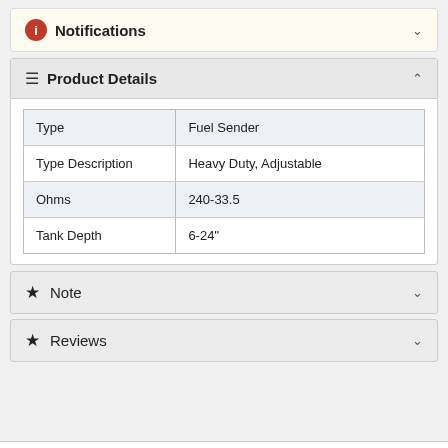Notifications
Product Details
| Type | Fuel Sender |
| Type Description | Heavy Duty, Adjustable |
| Ohms | 240-33.5 |
| Tank Depth | 6-24" |
Note
Reviews